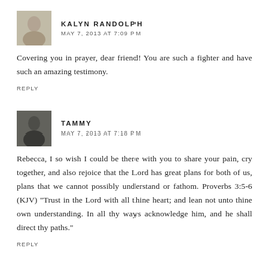[Figure (photo): Small avatar photo of Kalyn Randolph, a woman with light background]
KALYN RANDOLPH
MAY 7, 2013 AT 7:09 PM
Covering you in prayer, dear friend! You are such a fighter and have such an amazing testimony.
REPLY
[Figure (photo): Small avatar photo of Tammy, a woman with dark clothing]
TAMMY
MAY 7, 2013 AT 7:18 PM
Rebecca, I so wish I could be there with you to share your pain, cry together, and also rejoice that the Lord has great plans for both of us, plans that we cannot possibly understand or fathom. Proverbs 3:5-6 (KJV) "Trust in the Lord with all thine heart; and lean not unto thine own understanding. In all thy ways acknowledge him, and he shall direct thy paths."
REPLY